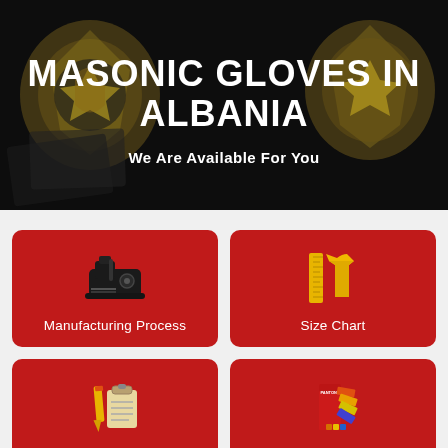[Figure (photo): Dark hero banner background with gold masonic embroidery badges/patches on dark fabric]
MASONIC GLOVES IN ALBANIA
We Are Available For You
[Figure (illustration): Sewing machine icon on red card — Manufacturing Process]
Manufacturing Process
[Figure (illustration): Ruler and yellow t-shirt icon on red card — Size Chart]
Size Chart
[Figure (illustration): Pencil and clipboard/checklist icon on red card — Order Handling]
Order Handling
[Figure (illustration): Pantone color fan/swatch book icon on red card — Check Pantone]
Check Pantone